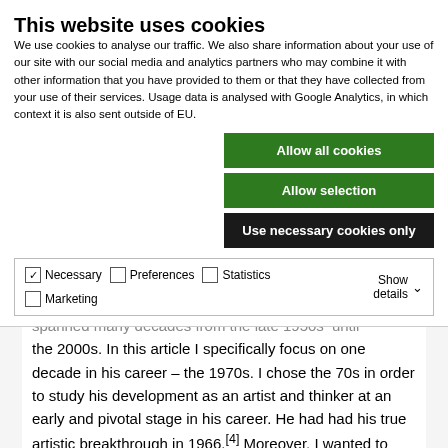This website uses cookies
We use cookies to analyse our traffic. We also share information about your use of our site with our social media and analytics partners who may combine it with other information that you have provided to them or that they have collected from your use of their services. Usage data is analysed with Google Analytics, in which context it is also sent outside of EU.
Allow all cookies
Allow selection
Use necessary cookies only
| ✓ Necessary | ☐ Preferences | ☐ Statistics | Show details ∨ |
| ☐ Marketing |  |  |  |
spanned many decades from the late 1950s[*] until the 2000s. In this article I specifically focus on one decade in his career – the 1970s. I chose the 70s in order to study his development as an artist and thinker at an early and pivotal stage in his career. He had had his true artistic breakthrough in 1966.[4] Moreover, I wanted to study his use of the grid, which I knew he had experimented with, but how and